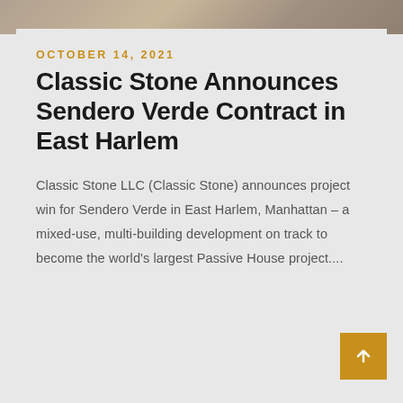[Figure (photo): Partial photo strip at top of page showing a blurred outdoor/nature scene]
OCTOBER 14, 2021
Classic Stone Announces Sendero Verde Contract in East Harlem
Classic Stone LLC (Classic Stone) announces project win for Sendero Verde in East Harlem, Manhattan – a mixed-use, multi-building development on track to become the world's largest Passive House project....